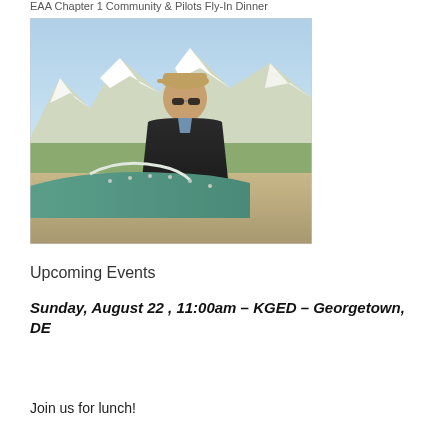EAA Chapter 1 Community & Pilots Fly-In Dinner
[Figure (photo): A man wearing sunglasses and a cap standing in front of a small aircraft with snow-capped mountains in the background.]
Upcoming Events
Sunday, August 22 , 11:00am – KGED – Georgetown, DE
Join us for lunch!